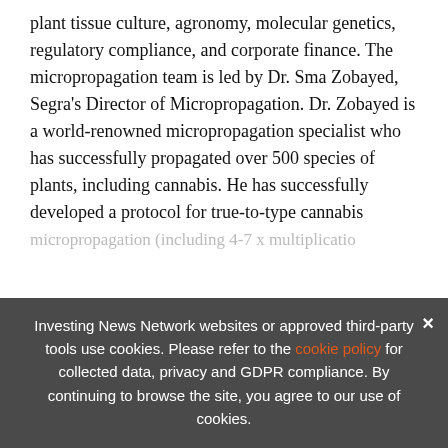plant tissue culture, agronomy, molecular genetics, regulatory compliance, and corporate finance. The micropropagation team is led by Dr. Sma Zobayed, Segra's Director of Micropropagation. Dr. Zobayed is a world-renowned micropropagation specialist who has successfully propagated over 500 species of plants, including cannabis. He has successfully developed a protocol for true-to-type cannabis micropropagation (including 4-7 x multiplicatio plan technology. Segra will help its clients improve
[Figure (infographic): Advertisement banner: Exclusive 2022 Cannabis Outlook Report. Trends. Forecasts. Top Stocks. With book icon and orange arrow button.]
Investing News Network websites or approved third-party tools use cookies. Please refer to the cookie policy for collected data, privacy and GDPR compliance. By continuing to browse the site, you agree to our use of cookies.